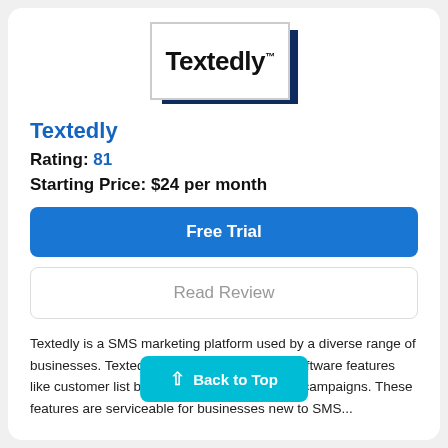[Figure (logo): Textedly logo with dark blue shadow offset box effect, black bold text 'Textedly' with trademark symbol]
Textedly
Rating: 81
Starting Price: $24 per month
Free Trial
Read Review
Textedly is a SMS marketing platform used by a diverse range of businesses. Textedly offers SMS marketing software features like customer list building, segmentation, and campaigns. These features are serviceable for businesses new to SMS...